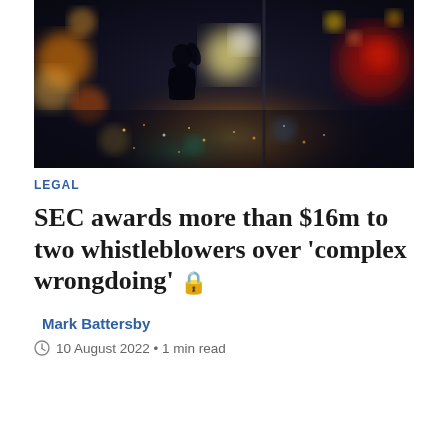[Figure (photo): Night cityscape photo with bokeh light effects and silhouette of a person standing at a window overlooking a city at night]
LEGAL
SEC awards more than $16m to two whistleblowers over 'complex wrongdoing' 🔒
Mark Battersby
10 August 2022 • 1 min read